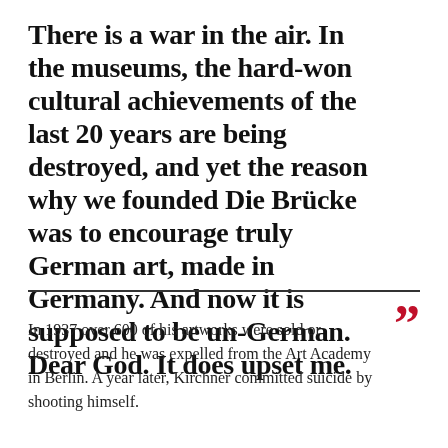There is a war in the air. In the museums, the hard-won cultural achievements of the last 20 years are being destroyed, and yet the reason why we founded Die Brücke was to encourage truly German art, made in Germany. And now it is supposed to be un-German. Dear God. It does upset me.
In 1937 over 600 of his artworks were sold or destroyed and he was expelled from the Art Academy in Berlin. A year later, Kirchner committed suicide by shooting himself.